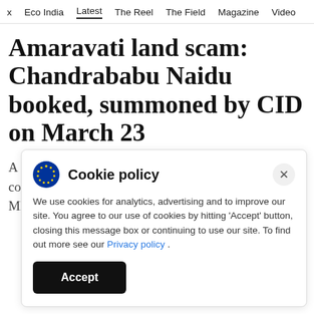x  Eco India  Latest  The Reel  The Field  Magazine  Video
Amaravati land scam: Chandrababu Naidu booked, summoned by CID on March 23
A first information report was filed based on a complaint by Yuvajana Sramika Rythu Congress Party MLA Alla Rama Krishna Reddy.
Cookie policy
We use cookies for analytics, advertising and to improve our site. You agree to our use of cookies by hitting 'Accept' button, closing this message box or continuing to use our site. To find out more see our Privacy policy .